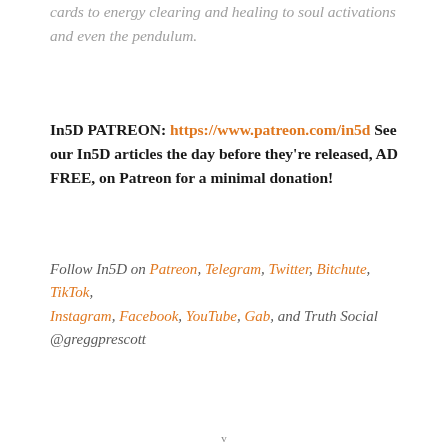cards to energy clearing and healing to soul activations and even the pendulum.
In5D PATREON: https://www.patreon.com/in5d See our In5D articles the day before they're released, AD FREE, on Patreon for a minimal donation!
Follow In5D on Patreon, Telegram, Twitter, Bitchute, TikTok, Instagram, Facebook, YouTube, Gab, and Truth Social @greggprescott
v